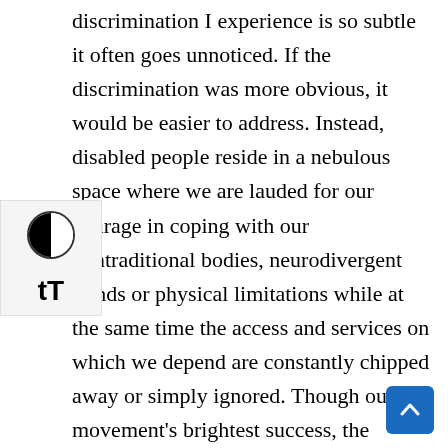discrimination I experience is so subtle it often goes unnoticed. If the discrimination was more obvious, it would be easier to address. Instead, disabled people reside in a nebulous space where we are lauded for our courage in coping with our nontraditional bodies, neurodivergent minds or physical limitations while at the same time the access and services on which we depend are constantly chipped away or simply ignored. Though our movement's brightest success, the landmark Americans with Disabilities Act (ADA), is nearly 30, many businesses and public accommodations still struggle to understand its requirements, and many more people with disabilities still trudge through the inaccessibility